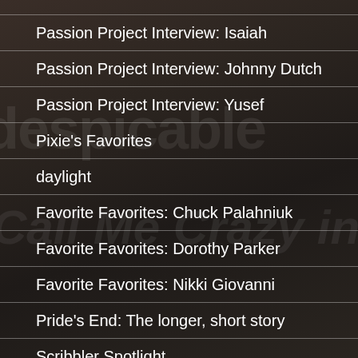Passion Project Interview: Isaiah
Passion Project Interview: Johnny Dutch
Passion Project Interview: Yusef
Pixie's Favorites
daylight
Favorite Favorites: Chuck Palahniuk
Favorite Favorites: Dorothy Parker
Favorite Favorites: Nikki Giovanni
Pride's End: The longer, short story
Scribbler Spotlight
Scribbler Spotlight: The Book...